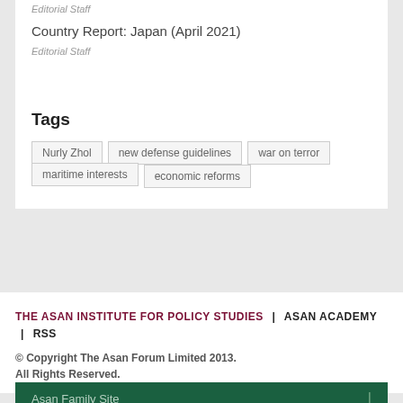Editorial Staff
Country Report: Japan (April 2021)
Editorial Staff
Tags
Nurly Zhol
new defense guidelines
war on terror
maritime interests
economic reforms
THE ASAN INSTITUTE FOR POLICY STUDIES | ASAN ACADEMY | RSS © Copyright The Asan Forum Limited 2013. All Rights Reserved.
Asan Family Site  |